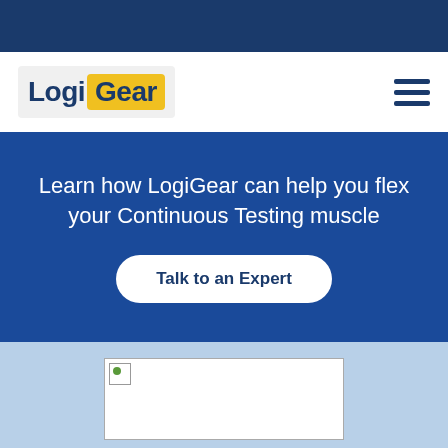[Figure (logo): LogiGear logo with 'Logi' in dark blue text and 'Gear' in dark blue text on a yellow background, inside a light grey rounded rectangle]
Learn how LogiGear can help you flex your Continuous Testing muscle
Talk to an Expert
[Figure (photo): Partially loaded image placeholder on a light blue background]